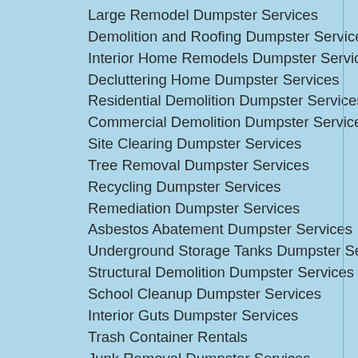Large Remodel Dumpster Services
Demolition and Roofing Dumpster Services
Interior Home Remodels Dumpster Services
Decluttering Home Dumpster Services
Residential Demolition Dumpster Services
Commercial Demolition Dumpster Services
Site Clearing Dumpster Services
Tree Removal Dumpster Services
Recycling Dumpster Services
Remediation Dumpster Services
Asbestos Abatement Dumpster Services
Underground Storage Tanks Dumpster Services
Structural Demolition Dumpster Services
School Cleanup Dumpster Services
Interior Guts Dumpster Services
Trash Container Rentals
Junk Removal Dumpster Services
Bathroom Remodel Dumpster Services
Spring Cleaning Dumpster Services
House Moving Dumpster Services